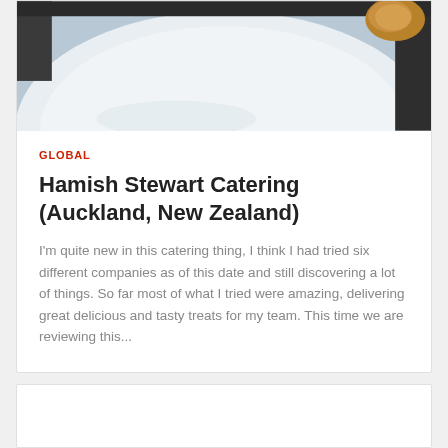[Figure (photo): Close-up photo of food on a white plate, viewed from above, showing what appears to be baked or fried items with a blurred background.]
GLOBAL
Hamish Stewart Catering (Auckland, New Zealand)
I'm quite new in this catering thing, I think I had tried six different companies as of this date and still discovering a lot of things. So far most of what I tried were amazing, delivering great delicious and tasty treats for my team. This time we are reviewing this...